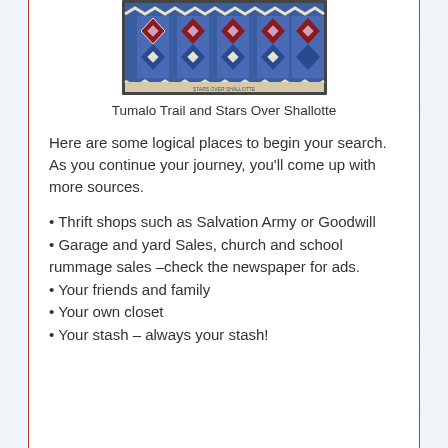[Figure (photo): A colorful geometric quilt with blue, red, and white patterns including diamond and cross shapes, partially cropped at top]
Tumalo Trail and Stars Over Shallotte
Here are some logical places to begin your search. As you continue your journey, you'll come up with more sources.
• Thrift shops such as Salvation Army or Goodwill
• Garage and yard Sales, church and school rummage sales –check the newspaper for ads.
• Your friends and family
• Your own closet
• Your stash – always your stash!